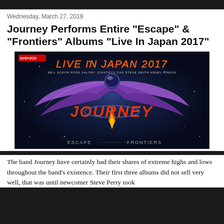Wednesday, March 27, 2019
Journey Performs Entire "Escape" & "Frontiers" Albums "Live In Japan 2017"
[Figure (photo): Album cover for Journey 'Live In Japan 2017' featuring the Journey scarab/phoenix logo with wings, showing 'ESCAPE' and 'FRONTIERS' text at the bottom on a dark blue starfield background. DVD+2CD badge in the top left corner.]
The band Journey have certainly had their shares of extreme highs and lows throughout the band's existence. Their first three albums did not sell very well, that was until newcomer Steve Perry took